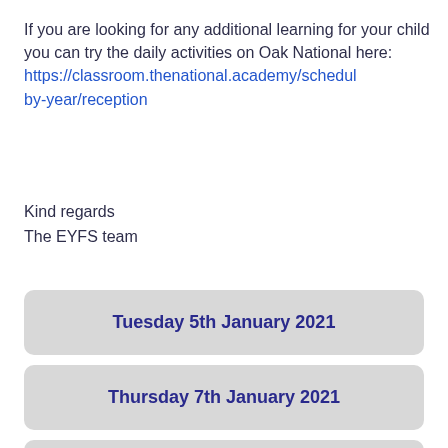If you are looking for any additional learning for your child you can try the daily activities on Oak National here: https://classroom.thenational.academy/schedule-by-year/reception
Kind regards
The EYFS team
Tuesday 5th January 2021
Thursday 7th January 2021
Friday 8th January 2021